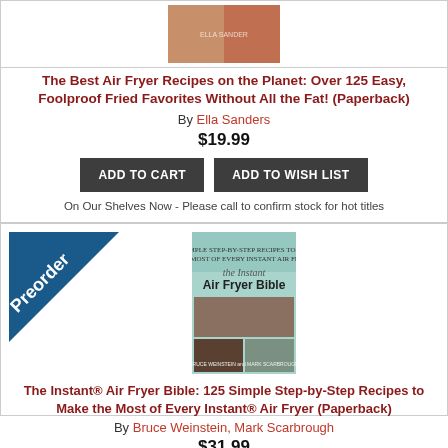[Figure (photo): Book cover image of The Best Air Fryer Recipes on the Planet showing food photos]
The Best Air Fryer Recipes on the Planet: Over 125 Easy, Foolproof Fried Favorites Without All the Fat! (Paperback)
By Ella Sanders
$19.99
ADD TO CART
ADD TO WISH LIST
On Our Shelves Now - Please call to confirm stock for hot titles
[Figure (photo): Preorder badge diagonal banner in blue with white text 'Preorder']
[Figure (photo): Book cover image of The Instant Air Fryer Bible showing food photos]
The Instant® Air Fryer Bible: 125 Simple Step-by-Step Recipes to Make the Most of Every Instant® Air Fryer (Paperback)
By Bruce Weinstein, Mark Scarbrough
$31.99